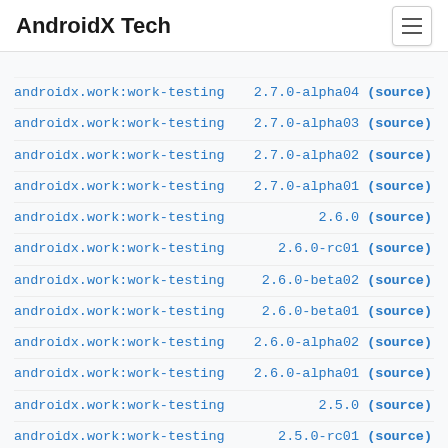AndroidX Tech
androidx.work:work-testing 2.7.0-alpha04 (source)
androidx.work:work-testing 2.7.0-alpha03 (source)
androidx.work:work-testing 2.7.0-alpha02 (source)
androidx.work:work-testing 2.7.0-alpha01 (source)
androidx.work:work-testing 2.6.0 (source)
androidx.work:work-testing 2.6.0-rc01 (source)
androidx.work:work-testing 2.6.0-beta02 (source)
androidx.work:work-testing 2.6.0-beta01 (source)
androidx.work:work-testing 2.6.0-alpha02 (source)
androidx.work:work-testing 2.6.0-alpha01 (source)
androidx.work:work-testing 2.5.0 (source)
androidx.work:work-testing 2.5.0-rc01 (source)